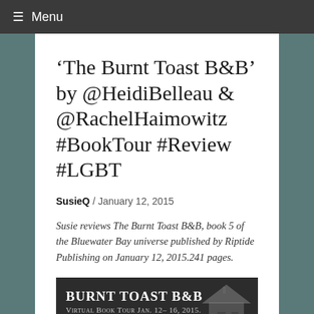≡ Menu
'The Burnt Toast B&B' by @HeidiBelleau & @RachelHaimowitz #BookTour #Review #LGBT
SusieQ / January 12, 2015
Susie reviews The Burnt Toast B&B, book 5 of the Bluewater Bay universe published by Riptide Publishing on January 12, 2015.241 pages.
[Figure (other): Burnt Toast B&B Virtual Book Tour Jan. 12-16, 2015. Welcome to Bluewater Bay's worst B&B. Banner image with house silhouette.]